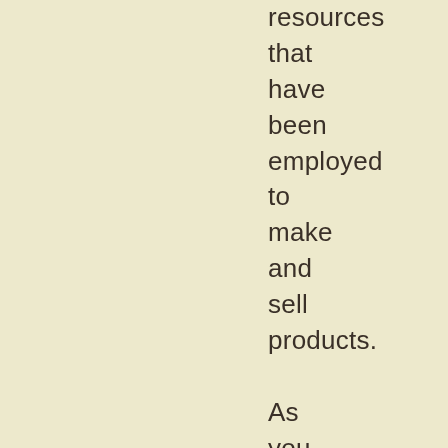resources that have been employed to make and sell products.

As you can see, each person having different point of view